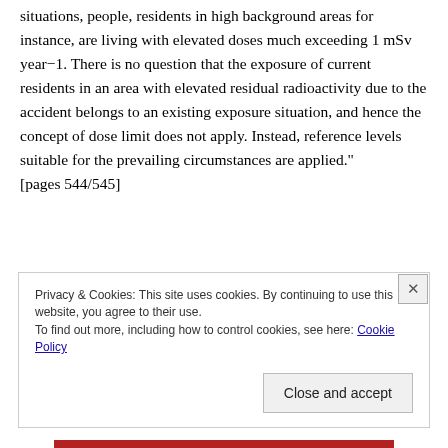situations, people, residents in high background areas for instance, are living with elevated doses much exceeding 1 mSv year−1. There is no question that the exposure of current residents in an area with elevated residual radioactivity due to the accident belongs to an existing exposure situation, and hence the concept of dose limit does not apply. Instead, reference levels suitable for the prevailing circumstances are applied." [pages 544/545]
Privacy & Cookies: This site uses cookies. By continuing to use this website, you agree to their use.
To find out more, including how to control cookies, see here: Cookie Policy